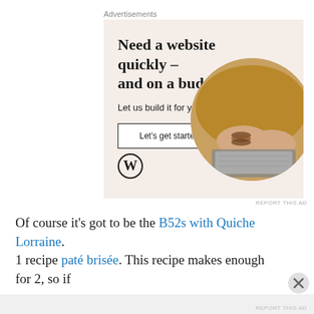Advertisements
[Figure (screenshot): WordPress advertisement banner with beige/pink background showing text 'Need a website quickly – and on a budget? Let us build it for you' with a 'Let's get started' button, WordPress logo, and a circular photo of hands typing on a laptop.]
REPORT THIS AD
Of course it's got to be the B52s with Quiche Lorraine.
1 recipe paté brisée. This recipe makes enough for 2, so if
Advertisements